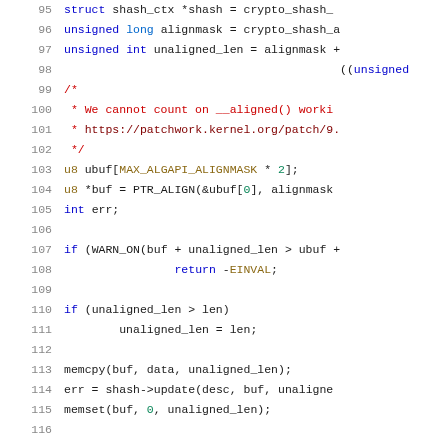[Figure (screenshot): Source code listing showing lines 95-116 of a C kernel function. Lines include variable declarations for alignmask, unaligned_len, a comment block about __aligned() not working, buffer declarations, error handling with WARN_ON, conditional check, memcpy, shash->update, and memset calls. Syntax highlighted with blue keywords, red comments, and dark text.]